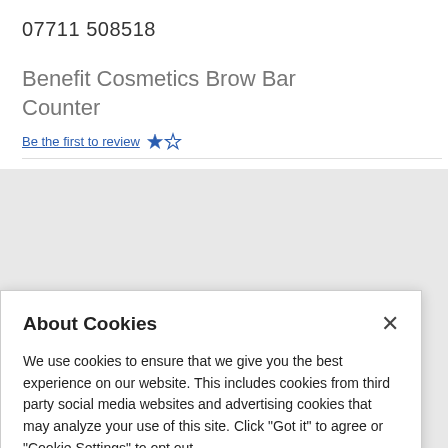07711 508518
Benefit Cosmetics Brow Bar Counter
About Cookies
We use cookies to ensure that we give you the best experience on our website. This includes cookies from third party social media websites and advertising cookies that may analyze your use of this site. Click "Got it" to agree or "Cookie Settings" to opt out.
Cookie Notice
Got It
Cookies Settings